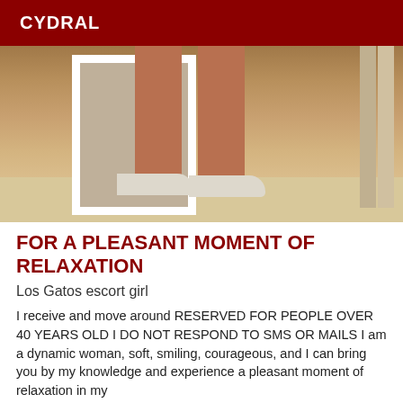CYDRAL
[Figure (photo): Photo of a woman's legs wearing white high heel shoes, standing near a mirror on a light wooden floor]
FOR A PLEASANT MOMENT OF RELAXATION
Los Gatos escort girl
I receive and move around RESERVED FOR PEOPLE OVER 40 YEARS OLD I DO NOT RESPOND TO SMS OR MAILS I am a dynamic woman, soft, smiling, courageous, and I can bring you by my knowledge and experience a pleasant moment of relaxation in my